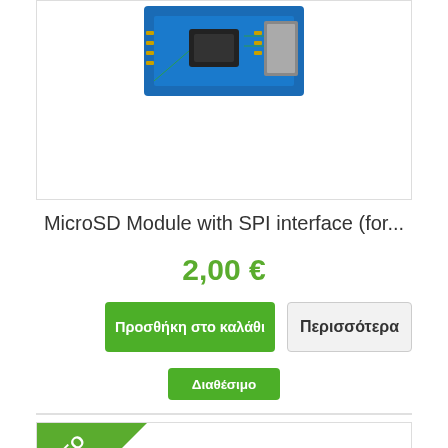[Figure (photo): Top portion of a blue MicroSD module PCB with SPI interface, partially visible]
MicroSD Module with SPI interface (for...
2,00 €
Προσθήκη στο καλάθι
Περισσότερα
Διαθέσιμο
[Figure (photo): New product card with NEO badge in corner and a sensor/component partially visible at the bottom]